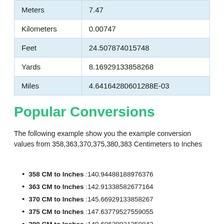| Unit | Value |
| --- | --- |
| Meters | 7.47 |
| Kilometers | 0.00747 |
| Feet | 24.507874015748 |
| Yards | 8.16929133858268 |
| Miles | 4.64164280601288E-03 |
Popular Conversions
The following example show you the example conversion values from 358,363,370,375,380,383 Centimeters to Inches
358 CM to Inches :140.94488188976376
363 CM to Inches :142.91338582677164
370 CM to Inches :145.66929133858267
375 CM to Inches :147.63779527559055
380 CM to Inches :149.60629921259843
383 CM to Inches :150.78740157480314